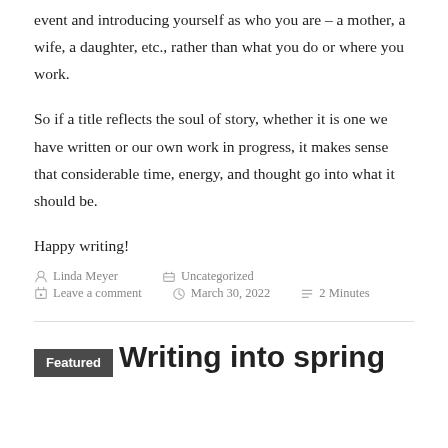event and introducing yourself as who you are – a mother, a wife, a daughter, etc., rather than what you do or where you work.
So if a title reflects the soul of story, whether it is one we have written or our own work in progress, it makes sense that considerable time, energy, and thought go into what it should be.
Happy writing!
Linda Meyer   Uncategorized   Leave a comment   March 30, 2022   2 Minutes
Writing into spring